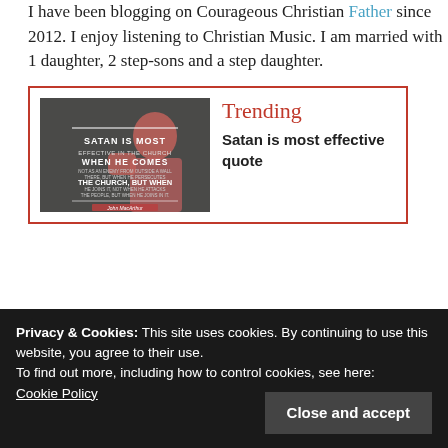I have been blogging on Courageous Christian Father since 2012. I enjoy listening to Christian Music. I am married with 1 daughter, 2 step-sons and a step daughter.
[Figure (illustration): Dark-toned image with overlaid text quote: 'Satan is most effective in the church when he comes...' attributed to John MacArthur, alongside Trending label and title 'Satan is most effective quote']
Privacy & Cookies: This site uses cookies. By continuing to use this website, you agree to their use.
To find out more, including how to control cookies, see here:
Cookie Policy
Close and accept